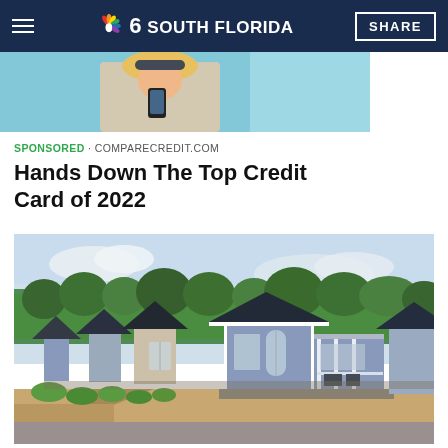NBC 6 South Florida – SHARE
[Figure (photo): Partial view of a person holding a phone, advertisement image at top of page]
SPONSORED · COMPARECREDIT.COM
Hands Down The Top Credit Card of 2022
[Figure (photo): Row of small Scandinavian-style blue and beige wooden holiday cabins along a path with green bushes and trees in the background]